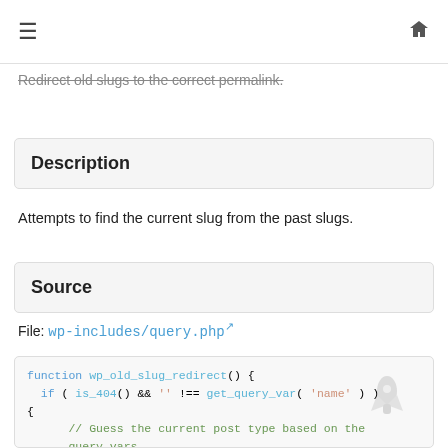≡  🏠
Redirect old slugs to the correct permalink.
Description
Attempts to find the current slug from the past slugs.
Source
File: wp-includes/query.php
function wp_old_slug_redirect() {
    if ( is_404() && '' !== get_query_var( 'name' ) ) {
        // Guess the current post type based on the query vars.
        if ( get_query_var( 'post_type' ) ) {
            $post_type = get_query_var( 'post_type' );
        } elseif ( get_query_var( 'attachment' ) ) {
            $post_type = 'attachment';